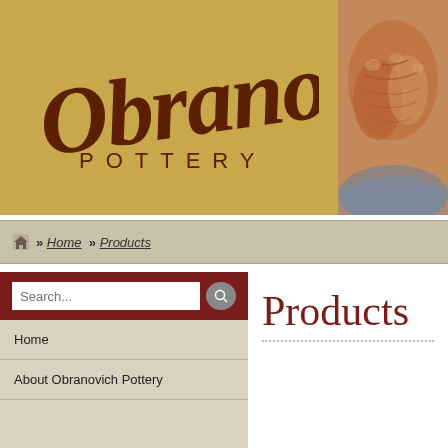[Figure (logo): Obranovich Pottery logo with cursive script signature on tan/gold background, alongside a photo of elderly hands working pottery on the right]
[Figure (photo): Close-up photo of elderly hands shaping pottery clay, brown and warm tones]
» Home » Products
Search...
Home
About Obranovich Pottery
Products